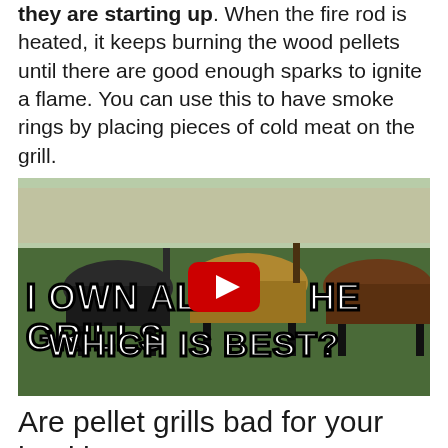they are starting up. When the fire rod is heated, it keeps burning the wood pellets until there are good enough sparks to ignite a flame. You can use this to have smoke rings by placing pieces of cold meat on the grill.
[Figure (screenshot): YouTube video thumbnail showing a row of pellet grills in a backyard. Text overlay reads 'I OWN ALL THE GRILLS Which is best?' with a YouTube play button in the center.]
Are pellet grills bad for your health?